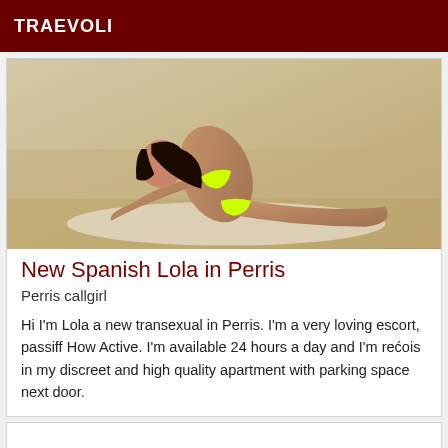TRAEVOLI
[Figure (photo): Woman in yellow bikini posing on a sandy beach]
New Spanish Lola in Perris
Perris callgirl
Hi I'm Lola a new transexual in Perris. I'm a very loving escort, passiff How Active. I'm available 24 hours a day and I'm reċois in my discreet and high quality apartment with parking space next door.